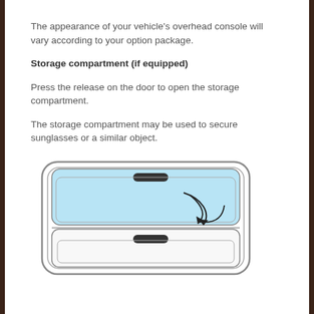The appearance of your vehicle's overhead console will vary according to your option package.
Storage compartment (if equipped)
Press the release on the door to open the storage compartment.
The storage compartment may be used to secure sunglasses or a similar object.
[Figure (illustration): Diagram of an overhead console storage compartment showing two compartments: the upper one (highlighted in light blue) has a release button on top and is shown open with an arrow indicating the door swinging down; the lower compartment is closed with a release button on top.]